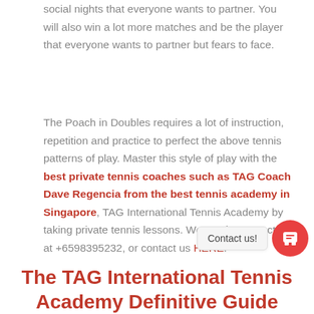social nights that everyone wants to partner. You will also win a lot more matches and be the player that everyone wants to partner but fears to face.
The Poach in Doubles requires a lot of instruction, repetition and practice to perfect the above tennis patterns of play. Master this style of play with the best private tennis coaches such as TAG Coach Dave Regencia from the best tennis academy in Singapore, TAG International Tennis Academy by taking private tennis lessons. We can be contacted at +6598395232, or contact us HERE.
The TAG International Tennis Academy Definitive Guide